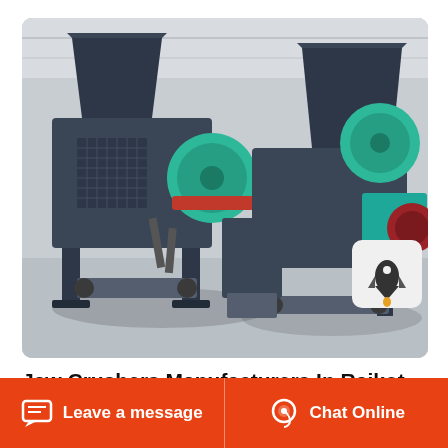[Figure (photo): Industrial jaw crusher machines with dark grey metal frames, green pulley wheels, and conveyor belts displayed in a factory/warehouse setting with grey concrete floor and metal structure roof]
Jaw Crushers Manufacturers In Rajkot
Jaw crusher manufactured by us is known for
Leave a message
Chat Online